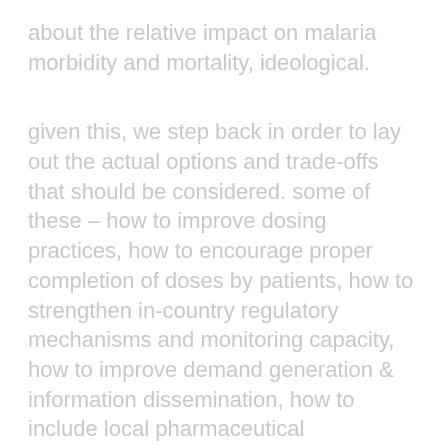about the relative impact on malaria morbidity and mortality, ideological.
given this, we step back in order to lay out the actual options and trade-offs that should be considered. some of these – how to improve dosing practices, how to encourage proper completion of doses by patients, how to strengthen in-country regulatory mechanisms and monitoring capacity, how to improve demand generation & information dissemination, how to include local pharmaceutical manufacturers – all often seem to be drowned out by either rancor over whether the private sector (in low and middle income countries) is an appropriate target for aid dollars or by discussions of specific types of subsidies and diagnostics. these are important moving parts in the bigger picture, but they